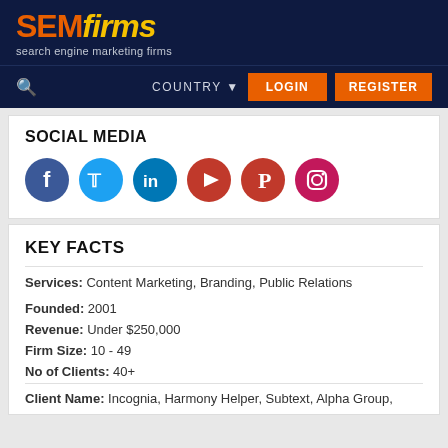[Figure (logo): SEMfirms logo with orange 'SEM' and yellow italic 'firms' text on dark navy background, with tagline 'search engine marketing firms']
COUNTRY LOGIN REGISTER
SOCIAL MEDIA
[Figure (infographic): Six social media icon circles: Facebook (blue), Twitter (light blue), LinkedIn (dark blue), YouTube (red), Pinterest (red), Instagram (pink/magenta)]
KEY FACTS
Services: Content Marketing, Branding, Public Relations
Founded: 2001
Revenue: Under $250,000
Firm Size: 10 - 49
No of Clients: 40+
Client Name: Incognia, Harmony Helper, Subtext, Alpha Group,